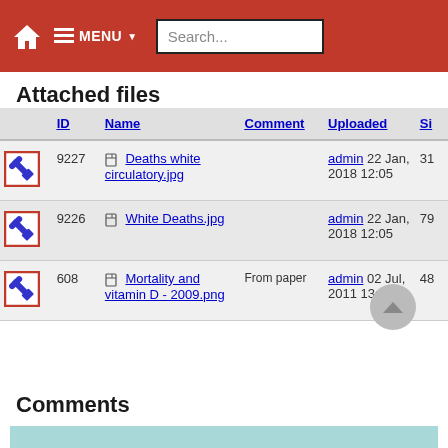🏠  ≡ MENU ▾  Search...
Attached files
|  | ID | Name | Comment | Uploaded | Si |
| --- | --- | --- | --- | --- | --- |
| [wrench] | 9227 | Deaths white circulatory.jpg |  | admin 22 Jan, 2018 12:05 | 31 |
| [wrench] | 9226 | White Deaths.jpg |  | admin 22 Jan, 2018 12:05 | 79 |
| [wrench] | 608 | Mortality and vitamin D - 2009.png | From paper | admin 02 Jul, 2011 13:05 | 48 |
Comments